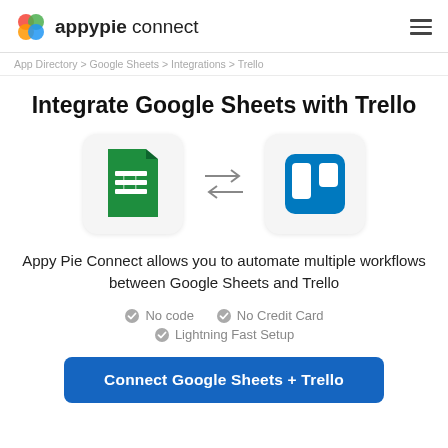appypie connect
App Directory > Google Sheets > Integrations > Trello
Integrate Google Sheets with Trello
[Figure (illustration): Google Sheets icon and Trello icon with bidirectional arrows between them]
Appy Pie Connect allows you to automate multiple workflows between Google Sheets and Trello
No code
No Credit Card
Lightning Fast Setup
Connect Google Sheets + Trello